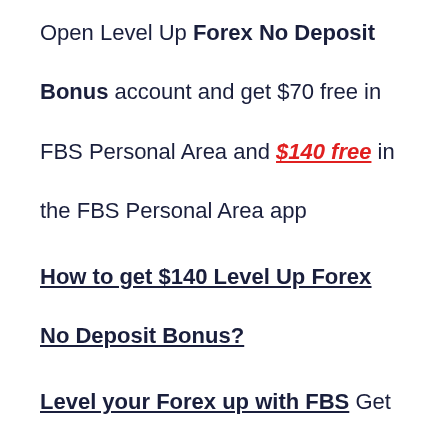Open Level Up Forex No Deposit Bonus account and get $70 free in FBS Personal Area and $140 free in the FBS Personal Area app
How to get $140 Level Up Forex No Deposit Bonus?
Level your Forex up with FBS Get $70 free bonus on your account, trade